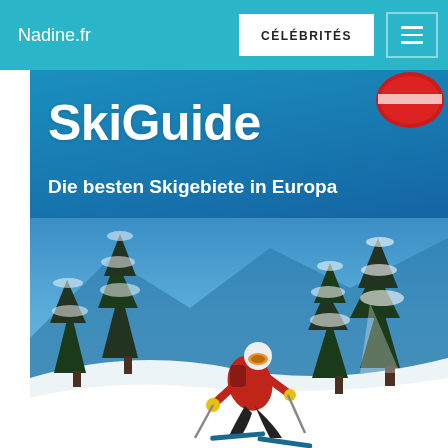Nadine.fr | CÉLÉBRITÉS
[Figure (screenshot): Website screenshot showing Nadine.fr navigation bar with 'CÉLÉBRITÉS' button and hamburger menu, followed by a SkiGuide book cover with blue background showing the title 'SkiGuide' and subtitle 'Die besten Skigebiete in Europa', with a skier in red jacket descending a snowy slope surrounded by snow-covered trees.]